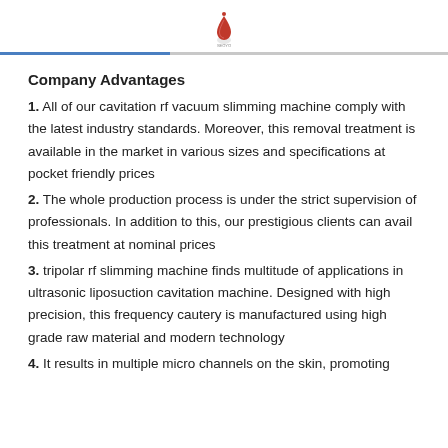[Logo: company icon]
Company Advantages
1. All of our cavitation rf vacuum slimming machine comply with the latest industry standards. Moreover, this removal treatment is available in the market in various sizes and specifications at pocket friendly prices
2. The whole production process is under the strict supervision of professionals. In addition to this, our prestigious clients can avail this treatment at nominal prices
3. tripolar rf slimming machine finds multitude of applications in ultrasonic liposuction cavitation machine. Designed with high precision, this frequency cautery is manufactured using high grade raw material and modern technology
4. It results in multiple micro channels on the skin, promoting